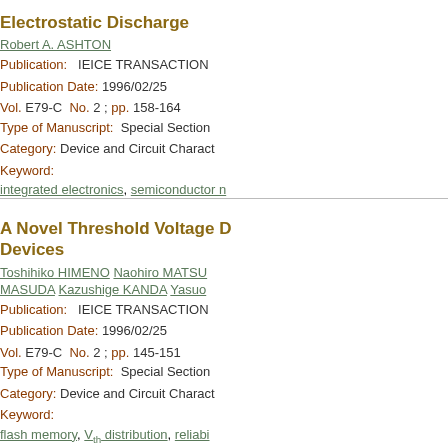Electrostatic Discharge
Robert A. ASHTON
Publication: IEICE TRANSACTION
Publication Date: 1996/02/25
Vol. E79-C No. 2 ; pp. 158-164
Type of Manuscript: Special Section
Category: Device and Circuit Charact
Keyword:
integrated electronics, semiconductor n
A Novel Threshold Voltage D Devices
Toshihiko HIMENO Naohiro MATSU MASUDA Kazushige KANDA Yasuo
Publication: IEICE TRANSACTION
Publication Date: 1996/02/25
Vol. E79-C No. 2 ; pp. 145-151
Type of Manuscript: Special Section
Category: Device and Circuit Charact
Keyword:
flash memory, V_th distribution, reliabi